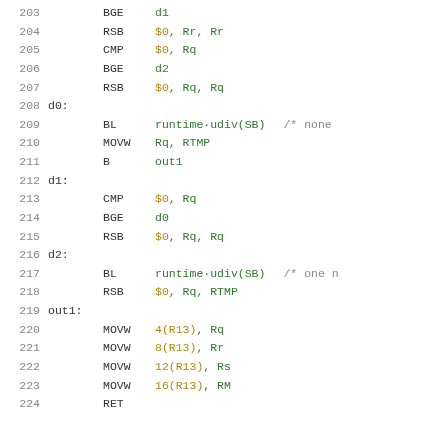Assembly code listing lines 203-224 with mnemonics BGE, RSB, CMP, BL, MOVW, B, RET and labels d0, d1, d2, out1
203   BGE  d1
204   RSB  $0, Rr, Rr
205   CMP  $0, Rq
206   BGE  d2
207   RSB  $0, Rq, Rq
208 d0:
209   BL   runtime·udiv(SB)   /* none
210   MOVW Rq, RTMP
211   B    out1
212 d1:
213   CMP  $0, Rq
214   BGE  d0
215   RSB  $0, Rq, Rq
216 d2:
217   BL   runtime·udiv(SB)   /* one n
218   RSB  $0, Rq, RTMP
219 out1:
220   MOVW 4(R13), Rq
221   MOVW 8(R13), Rr
222   MOVW 12(R13), Rs
223   MOVW 16(R13), RM
224   RET